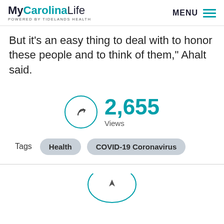MyCarolinaLife POWERED BY TIDELANDS HEALTH
But it's an easy thing to deal with to honor these people and to think of them," Ahalt said.
[Figure (infographic): Share icon in a teal circle next to view count: 2,655 Views]
Tags   Health   COVID-19 Coronavirus